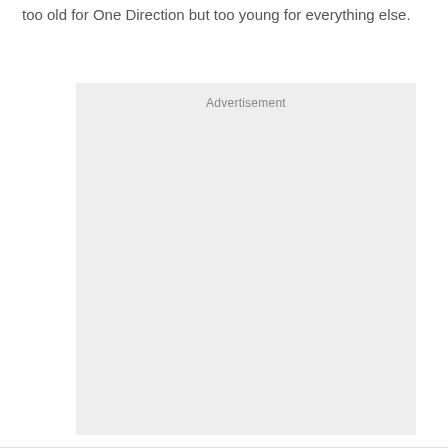too old for One Direction but too young for everything else.
[Figure (other): Advertisement placeholder box with light grey background and 'Advertisement' label at top center]